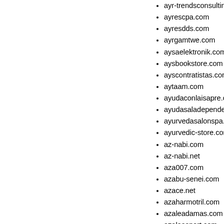ayr-trendsconsulting.com
ayrescpa.com
ayresdds.com
ayrgamtwe.com
aysaelektronik.com
aysbookstore.com
ayscontratistas.com
aytaam.com
ayudaconlaisapre.com
ayudasaladependencia.com
ayurvedasalonspa.com
ayurvedic-store.com
az-nabi.com
az-nabi.net
aza007.com
azabu-senei.com
azace.net
azaharmotril.com
azaleadamas.com
azaleasport.com
azaquaman.net
azarcpa.com
azarmesapol.com
azcaraccidentlawyer.com
azcustomlot.com
azcustomlot.net
azdle.net
azdrevointerier.com